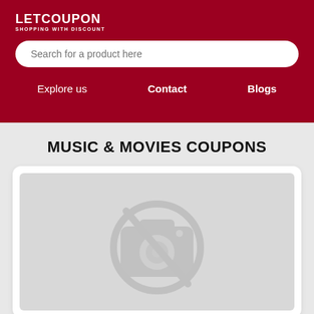LETCOUPON SHOPPING WITH DISCOUNT
Search for a product here
Explore us  Contact  Blogs
MUSIC & MOVIES COUPONS
[Figure (photo): Placeholder image with a crossed-out camera icon indicating no image available]